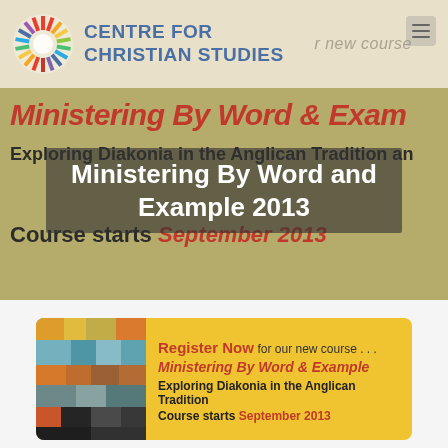[Figure (logo): Centre for Christian Studies logo with sunburst/radial design and organization name]
[Figure (screenshot): Website banner showing 'Ministering By Word & Example' course announcement in red italic text on olive/gold background, with subtitle 'Exploring Diakonia in the Anglican Tradition' and 'Course starts September 2013']
Ministering By Word and Example 2013
[Figure (infographic): Yellow registration card with abstract mosaic image on left, text 'Register Now for our new course... Ministering By Word & Example, Exploring Diakonia in the Anglican Tradition, Course starts September 2013']